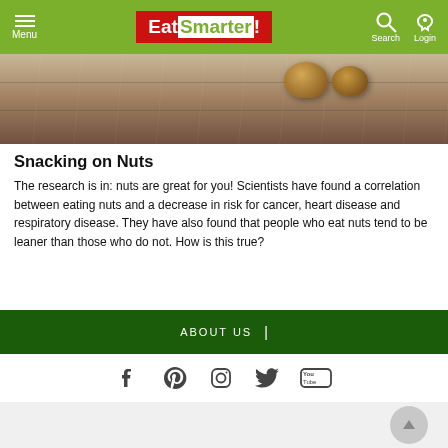Menu | EatSmarter! | Search | Login
[Figure (photo): Close-up of walnuts on a wooden surface]
Snacking on Nuts
The research is in: nuts are great for you! Scientists have found a correlation between eating nuts and a decrease in risk for cancer, heart disease and respiratory disease. They have also found that people who eat nuts tend to be leaner than those who do not. How is this true?
ABOUT US |
[Figure (other): Social media icons: Facebook, Pinterest, Instagram, Twitter, YouTube]